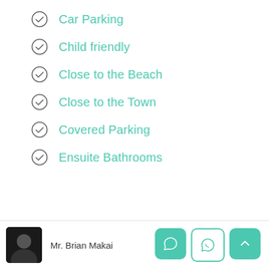Car Parking
Child friendly
Close to the Beach
Close to the Town
Covered Parking
Ensuite Bathrooms
Mr. Brian Makai